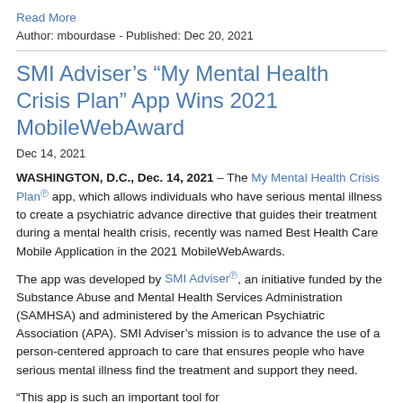Read More
Author: mbourdase - Published: Dec 20, 2021
SMI Adviser’s “My Mental Health Crisis Plan” App Wins 2021 MobileWebAward
Dec 14, 2021
WASHINGTON, D.C., Dec. 14, 2021 – The My Mental Health Crisis Plan app, which allows individuals who have serious mental illness to create a psychiatric advance directive that guides their treatment during a mental health crisis, recently was named Best Health Care Mobile Application in the 2021 MobileWebAwards.
The app was developed by SMI Adviser, an initiative funded by the Substance Abuse and Mental Health Services Administration (SAMHSA) and administered by the American Psychiatric Association (APA). SMI Adviser’s mission is to advance the use of a person-centered approach to care that ensures people who have serious mental illness find the treatment and support they need.
“This app is such an important tool for...